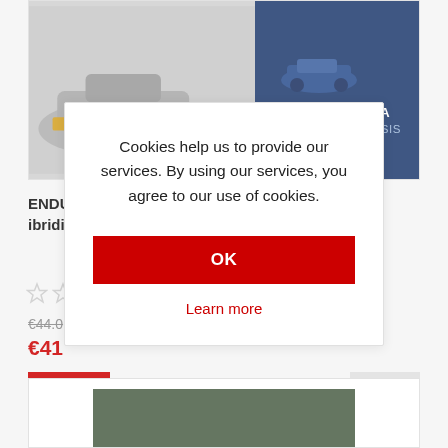[Figure (photo): Product image of a racing car (Formula/endurance) alongside a dark blue book cover showing 'ANALISI TECNICA / TECHNICAL ANALYSIS']
ENDURANCE WEC Dalle Gruppo C ai prototipi ibridi/From Group C to Hybrid prototypes
[Figure (other): Star rating widget showing empty stars]
€44.0 (strikethrough original price)
€41 (sale price in red)
Cookies help us to provide our services. By using our services, you agree to our use of cookies.
OK
Learn more
[Figure (photo): Bottom portion of another product — dark green textured book cover, partially visible]